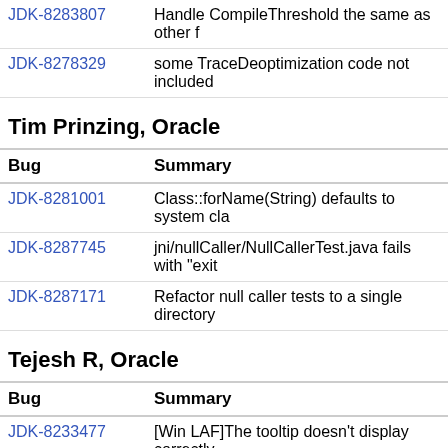| Bug | Summary |
| --- | --- |
| JDK-8283807 | Handle CompileThreshold the same as other f |
| JDK-8278329 | some TraceDeoptimization code not included |
Tim Prinzing, Oracle
| Bug | Summary |
| --- | --- |
| JDK-8281001 | Class::forName(String) defaults to system cla |
| JDK-8287745 | jni/nullCaller/NullCallerTest.java fails with "exit |
| JDK-8287171 | Refactor null caller tests to a single directory |
Tejesh R, Oracle
| Bug | Summary |
| --- | --- |
| JDK-8233477 | [Win LAF]The tooltip doesn't display correctly |
| JDK-8286620 | Create regression test for verifying setMargin( |
| JDK-6429812 | NPE after calling JTable.updateUI() when usin |